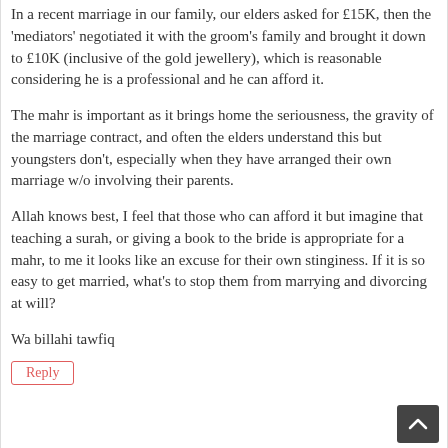In a recent marriage in our family, our elders asked for £15K, then the 'mediators' negotiated it with the groom's family and brought it down to £10K (inclusive of the gold jewellery), which is reasonable considering he is a professional and he can afford it.
The mahr is important as it brings home the seriousness, the gravity of the marriage contract, and often the elders understand this but youngsters don't, especially when they have arranged their own marriage w/o involving their parents.
Allah knows best, I feel that those who can afford it but imagine that teaching a surah, or giving a book to the bride is appropriate for a mahr, to me it looks like an excuse for their own stinginess. If it is so easy to get married, what's to stop them from marrying and divorcing at will?
Wa billahi tawfiq
Reply